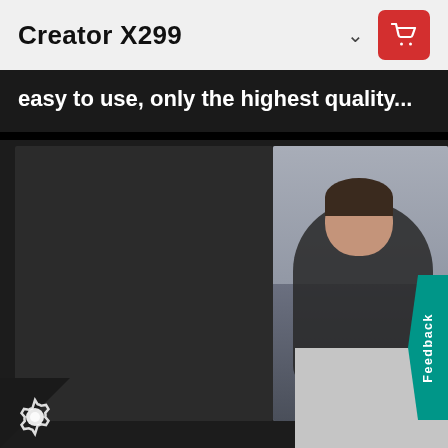Creator X299
easy to use, only the highest quality...
[Figure (photo): Screenshot of a web/app page showing a product listing for Creator X299 with a navigation bar, text excerpt, and a photo of a bearded man in a black shirt sitting at a desk looking at a phone, with a teal Feedback tab on the right and a grey overlay in the bottom-right corner, and a settings gear icon in the bottom-left corner.]